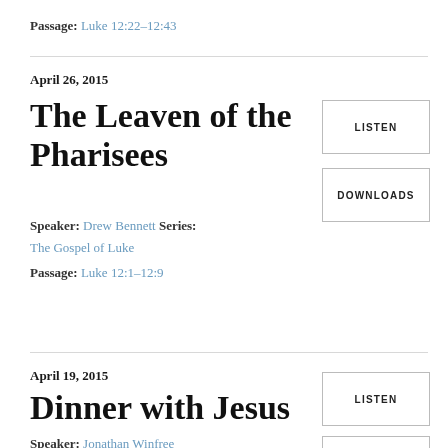Passage: Luke 12:22–12:43
April 26, 2015
The Leaven of the Pharisees
Speaker: Drew Bennett Series: The Gospel of Luke
Passage: Luke 12:1–12:9
LISTEN
DOWNLOADS
April 19, 2015
Dinner with Jesus
Speaker: Jonathan Winfree
Series: The Gospel of Luke
LISTEN
DOWNLOADS